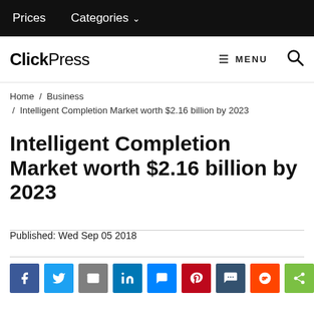Prices   Categories ∨
ClickPress   MENU
Home / Business / Intelligent Completion Market worth $2.16 billion by 2023
Intelligent Completion Market worth $2.16 billion by 2023
Published: Wed Sep 05 2018